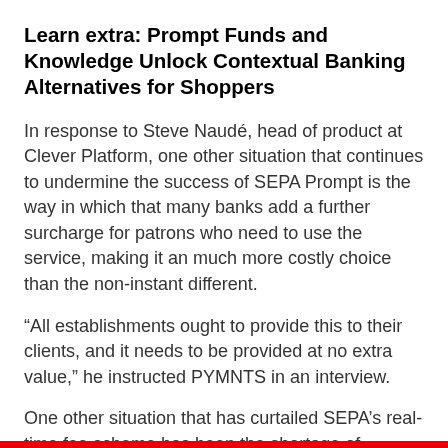Learn extra: Prompt Funds and Knowledge Unlock Contextual Banking Alternatives for Shoppers
In response to Steve Naudé, head of product at Clever Platform, one other situation that continues to undermine the success of SEPA Prompt is the way in which that many banks add a further surcharge for patrons who need to use the service, making it an much more costly choice than the non-instant different.
“All establishments ought to provide this to their clients, and it needs to be provided at no extra value,” he instructed PYMNTS in an interview.
One other situation that has curtailed SEPA’s real-time fee scheme has been the shortage of interoperability between the 2 underlying fee rails, TARGET Prompt Cost Settlement (TIPS) and the RT1 system.